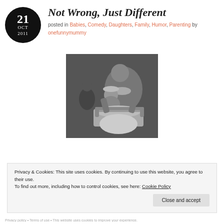Not Wrong, Just Different
posted in Babies, Comedy, Daughters, Family, Humor, Parenting by onefunnymummy
[Figure (photo): Vintage black and white photograph of a woman and a young child sitting on a scooter/moped, with another person visible in the background]
Privacy & Cookies: This site uses cookies. By continuing to use this website, you agree to their use.
To find out more, including how to control cookies, see here: Cookie Policy
Close and accept